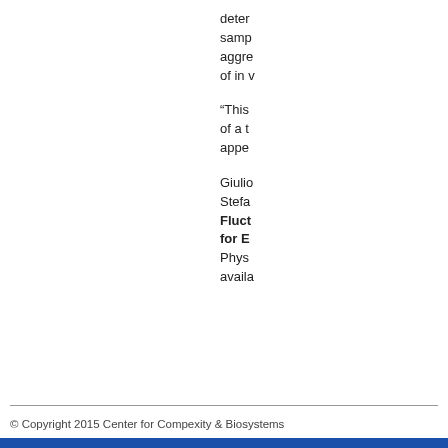deter- samp- aggre- of in v
“This of a t appe-
Giulio Stefa Fluctuations for E- Phys- availa-
© Copyright 2015 Center for Compexity & Biosystems